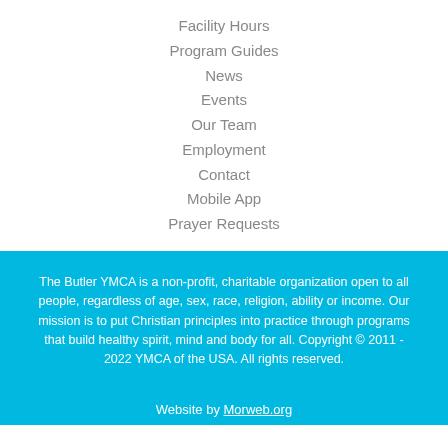Facility Hours
Program Guides
News
Events
Our Team
Employment
Contact
Mobile App
Prayer Requests
The Butler YMCA is a non-profit, charitable organization open to all people, regardless of age, sex, race, religion, ability or income. Our mission is to put Christian principles into practice through programs that build healthy spirit, mind and body for all. Copyright © 2011 - 2022 YMCA of the USA. All rights reserved.
Website by Morweb.org